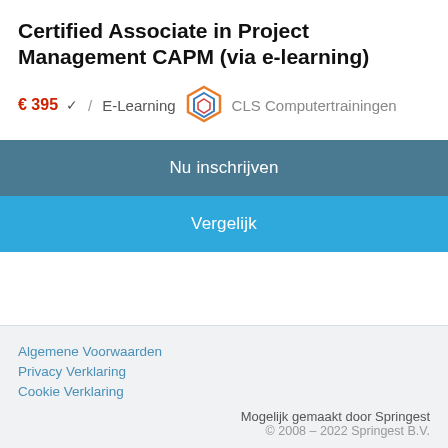Certified Associate in Project Management CAPM (via e-learning)
€ 395 ✓ / E-Learning  CLS Computertrainingen
Nu inschrijven
Vergelijk
Algemene Voorwaarden
Privacy Verklaring
Cookie Verklaring
Mogelijk gemaakt door Springest
© 2008 – 2022 Springest B.V.